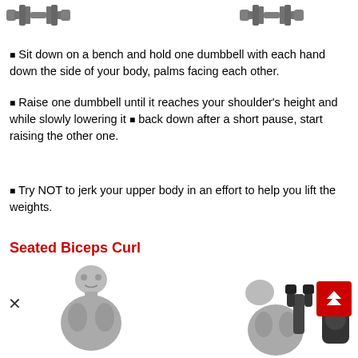[Figure (illustration): Two dumbbell images at the top of the page, one on the left and one on the right]
Sit down on a bench and hold one dumbbell with each hand down the side of your body, palms facing each other.
Raise one dumbbell until it reaches your shoulder's height and while slowly lowering it ■ back down after a short pause, start raising the other one.
Try NOT to jerk your upper body in an effort to help you lift the weights.
Seated Biceps Curl
[Figure (photo): Photos of a person performing seated biceps curl exercise, showing starting and curled positions with dumbbells, along with a close-up of a dumbbell plate]